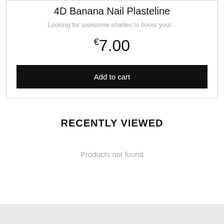4D Banana Nail Plasteline
Looking for awesome shades to boost your...
€7.00
Add to cart
RECENTLY VIEWED
Products not found